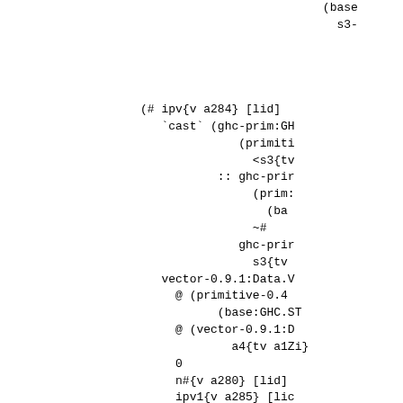(base
    s3-




(# ipv{v a284} [lid]
   `cast` (ghc-prim:GH
              (primiti
                <s3{tv
           :: ghc-prir
                (prim:
                  (ba
                ~#
              ghc-prir
                s3{tv
   vector-0.9.1:Data.V
     @ (primitive-0.4
         (base:GHC.ST
     @ (vector-0.9.1:D
           a4{tv a1Zi}
     0
     n#{v a280} [lid]
     ipv1{v a285} [lid
  }
  })
`cast` (Sym
       (base:GHC.ST.N